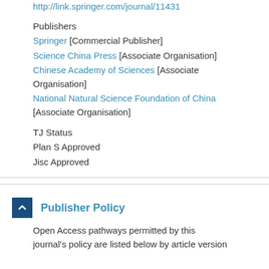http://link.springer.com/journal/11431
Publishers
Springer [Commercial Publisher]
Science China Press [Associate Organisation]
Chinese Academy of Sciences [Associate Organisation]
National Natural Science Foundation of China [Associate Organisation]
TJ Status
Plan S Approved
Jisc Approved
Publisher Policy
Open Access pathways permitted by this journal's policy are listed below by article version